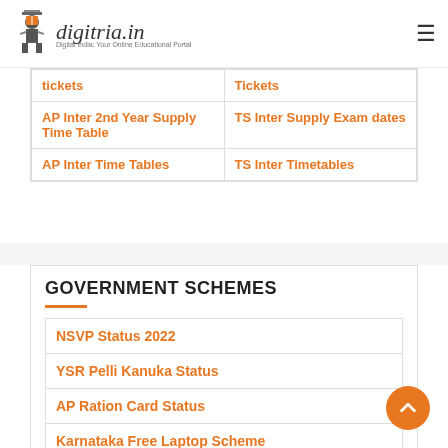digitria.in - Digital India: Your Online Educational Portal
| tickets | Tickets |
| AP Inter 2nd Year Supply Time Table | TS Inter Supply Exam dates |
| AP Inter Time Tables | TS Inter Timetables |
GOVERNMENT SCHEMES
| NSVP Status 2022 |
| YSR Pelli Kanuka Status |
| AP Ration Card Status |
| Karnataka Free Laptop Scheme |